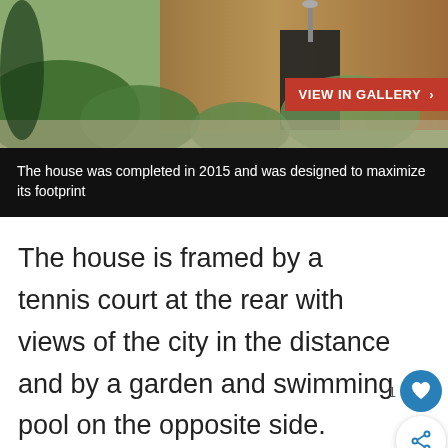[Figure (photo): Exterior photo of a modern house with wooden facade, lush green plants and garden landscaping in the foreground]
VIEW IN GALLERY ›
The house was completed in 2015 and was designed to maximize its footprint
The house is framed by a tennis court at the rear with views of the city in the distance and by a garden and swimming pool on the opposite side. Internally, the spaces are organized on two floors and in three main zones. The entrance is placed on the ground floor and divides the house into almost perfectly symmetrical zones.